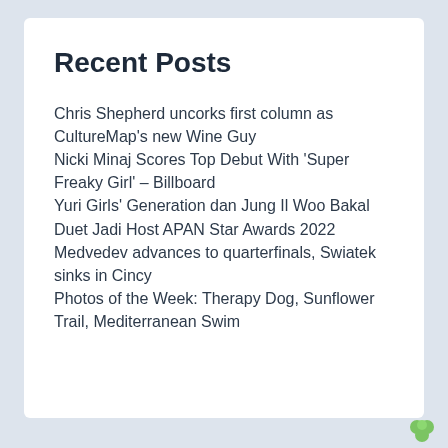Recent Posts
Chris Shepherd uncorks first column as CultureMap's new Wine Guy
Nicki Minaj Scores Top Debut With 'Super Freaky Girl' – Billboard
Yuri Girls' Generation dan Jung Il Woo Bakal Duet Jadi Host APAN Star Awards 2022
Medvedev advances to quarterfinals, Swiatek sinks in Cincy
Photos of the Week: Therapy Dog, Sunflower Trail, Mediterranean Swim